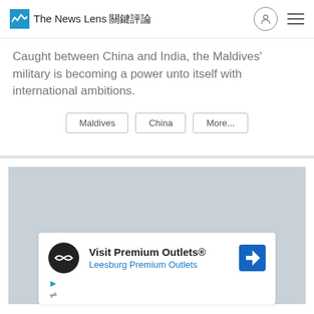The News Lens 關鍵評論
Caught between China and India, the Maldives' military is becoming a power unto itself with international ambitions.
Maldives
China
More...
[Figure (other): Advertisement placeholder - Visit Premium Outlets® Leesburg Premium Outlets]